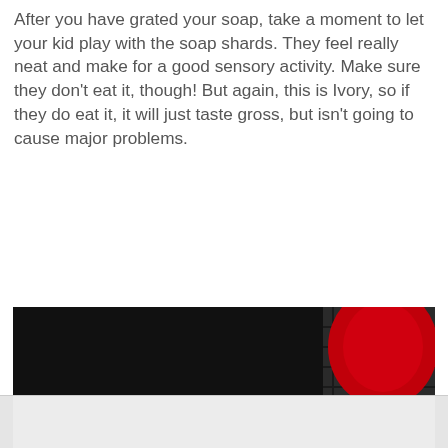After you have grated your soap, take a moment to let your kid play with the soap shards. They feel really neat and make for a good sensory activity. Make sure they don't eat it, though! But again, this is Ivory, so if they do eat it, it will just taste gross, but isn't going to cause major problems.
[Figure (photo): A stainless steel pot on a stovetop containing a soapy, bubbly white liquid being stirred with a wooden spoon. A red object and kitchen stovetop elements are visible in the background.]
[Figure (photo): Bottom portion of another image, showing a light gray/white surface, partially cut off at bottom of page.]